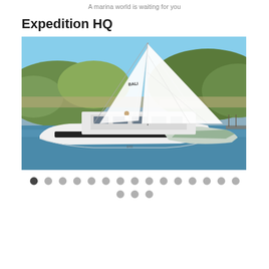A marina world is waiting for you
Expedition HQ
[Figure (photo): A large white catamaran sailing yacht (Bali brand) on calm blue water with rocky green hills in the background. The vessel has a large white sail deployed and a modern, angular hull design.]
Image carousel navigation dots: 18 dots total, first dot active (dark), rest inactive (light grey), arranged in two rows (15 in first row, 3 in second row centered).